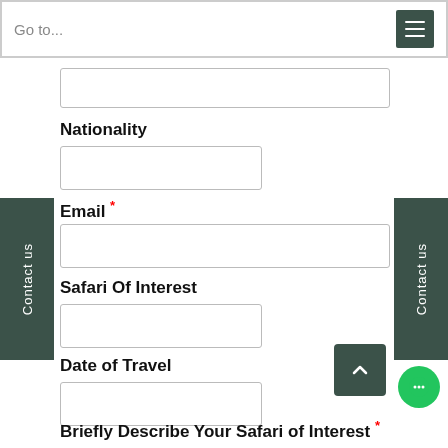Go to...
(partial input field)
Nationality
(Nationality input field)
Email *
(Email input field)
Safari Of Interest
(Safari Of Interest input field)
Date of Travel
(Date of Travel input field)
Briefly Describe Your Safari of Interest *